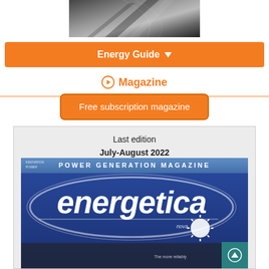[Figure (photo): Top partial photo showing dark angular shapes, likely architectural or industrial element, cropped at top of page]
Energy Guide ▼
➔ Magazine
Free subscription magazine
Last edition
July-August 2022
[Figure (photo): Cover of Energetica Power Generation Magazine, July-August 2022 edition. Blue background with white 'energetica' logo text and swirl design. Text reads POWER GENERATION MAGAZINE at top.]